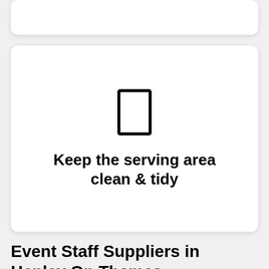[Figure (illustration): A partial white card visible at the top of the page, showing the top portion of a card with rounded corners.]
[Figure (illustration): A white card with rounded corners containing a simple rectangle icon (portrait orientation, outline only) above the text 'Keep the serving area clean & tidy'.]
Keep the serving area clean & tidy
Event Staff Suppliers in Henley On Thames